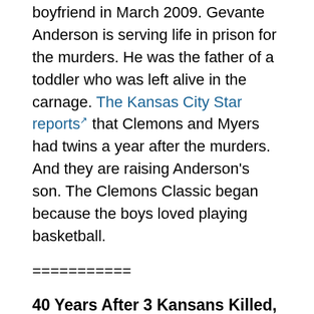boyfriend in March 2009. Gevante Anderson is serving life in prison for the murders. He was the father of a toddler who was left alive in the carnage. The Kansas City Star reports that Clemons and Myers had twins a year after the murders. And they are raising Anderson's son. The Clemons Classic began because the boys loved playing basketball.
===========
40 Years After 3 Kansans Killed, Still No Answers
LAWRENCE, Kan. (AP) — Forty years after three Kansans were found shot to death in a car near Ottawa, it's still unclear why the killings happened, or who is responsible. Sixty-year-old Hazel Avery, her 19-year-old son, Steve; and a family friend, 23-year-old Gary